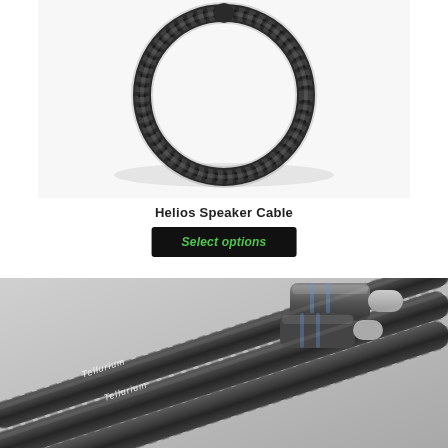[Figure (photo): Photo of a Helios Speaker Cable coiled in a circular loop against a white background, showing a dark braided cable]
Helios Speaker Cable
Select options
[Figure (photo): Close-up photo of audio interconnect cables with metallic XLR connectors and dark braided sleeves with white brand text, coiled together]